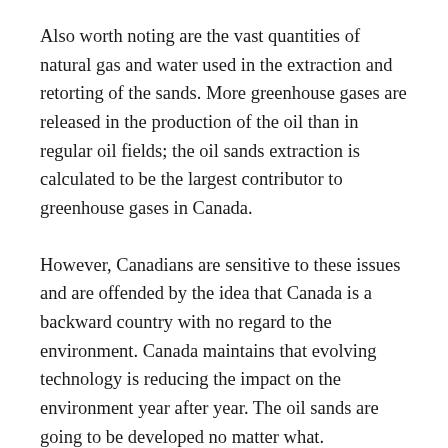Also worth noting are the vast quantities of natural gas and water used in the extraction and retorting of the sands. More greenhouse gases are released in the production of the oil than in regular oil fields; the oil sands extraction is calculated to be the largest contributor to greenhouse gases in Canada.
However, Canadians are sensitive to these issues and are offended by the idea that Canada is a backward country with no regard to the environment. Canada maintains that evolving technology is reducing the impact on the environment year after year. The oil sands are going to be developed no matter what.
There is a pattern of escalation in environmental concerns about big projects. Nuclear power gives a fine historical perspective on this escalation. Back in